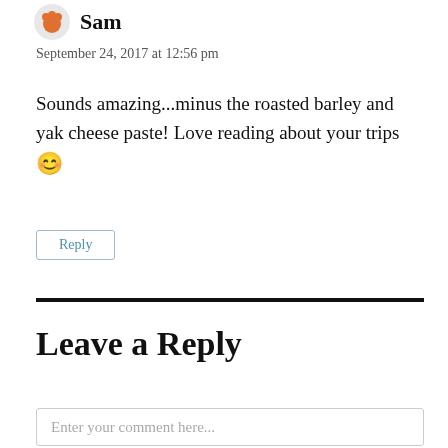Sam
September 24, 2017 at 12:56 pm
Sounds amazing...minus the roasted barley and yak cheese paste! Love reading about your trips 😊
Reply
Leave a Reply
Enter your comment here...